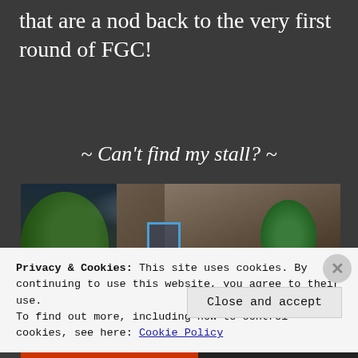that are a nod back to the very first round of FGC!
~ Can't find my stall? ~
[Figure (screenshot): Game screenshot showing a dark fantasy scene with trees on the left and a large stone/wood structure on the right. A blue square highlight box is visible with a white arrow pointing to it.]
Privacy & Cookies: This site uses cookies. By continuing to use this website, you agree to their use.
To find out more, including how to control cookies, see here: Cookie Policy
Close and accept